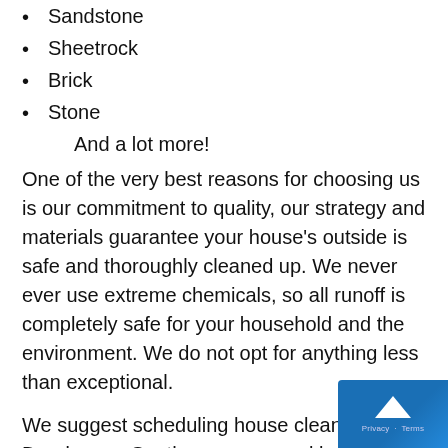Sandstone
Sheetrock
Brick
Stone
And a lot more!
One of the very best reasons for choosing us is our commitment to quality, our strategy and materials guarantee your house’s outside is safe and thoroughly cleaned up. We never ever use extreme chemicals, so all runoff is completely safe for your household and the environment. We do not opt for anything less than exceptional.
We suggest scheduling house cleaning in Dandenong South on a seasonal basis in order to start out the brand-new season on the best foot, weather condition and precipitation are big factors that can affect your house’s outside, so keep on top of this with routine machine-in essential de...